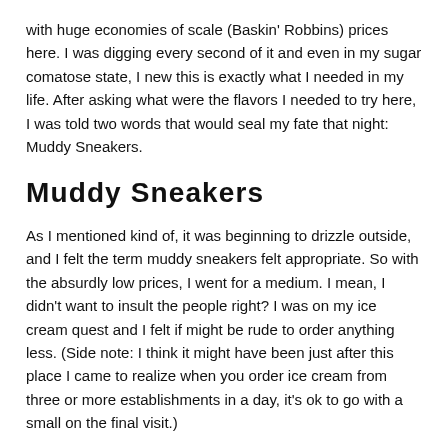with huge economies of scale (Baskin' Robbins) prices here. I was digging every second of it and even in my sugar comatose state, I new this is exactly what I needed in my life. After asking what were the flavors I needed to try here, I was told two words that would seal my fate that night: Muddy Sneakers.
Muddy Sneakers
As I mentioned kind of, it was beginning to drizzle outside, and I felt the term muddy sneakers felt appropriate. So with the absurdly low prices, I went for a medium. I mean, I didn't want to insult the people right? I was on my ice cream quest and I felt if might be rude to order anything less. (Side note: I think it might have been just after this place I came to realize when you order ice cream from three or more establishments in a day, it's ok to go with a small on the final visit.)
Holy cow! Do you see the size of the monster photographed? It's